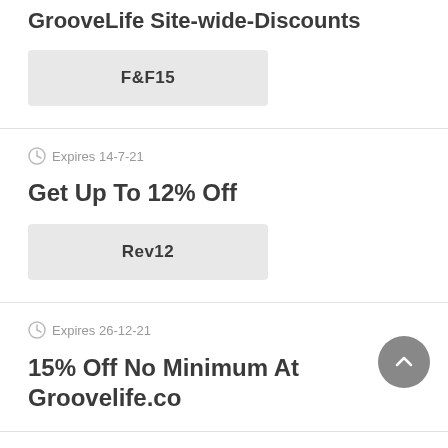GrooveLife Site-wide-Discounts
F&F15
Expires 14-7-21
Get Up To 12% Off
Rev12
Expires 26-12-21
15% Off No Minimum At Groovelife.co